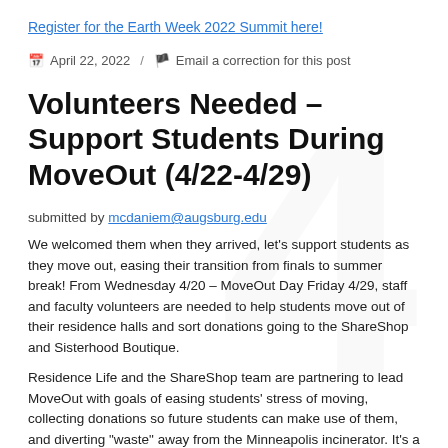Register for the Earth Week 2022 Summit here!
April 22, 2022 / Email a correction for this post
Volunteers Needed – Support Students During MoveOut (4/22-4/29)
submitted by mcdaniem@augsburg.edu
We welcomed them when they arrived, let's support students as they move out, easing their transition from finals to summer break! From Wednesday 4/20 – MoveOut Day Friday 4/29, staff and faculty volunteers are needed to help students move out of their residence halls and sort donations going to the ShareShop and Sisterhood Boutique.
Residence Life and the ShareShop team are partnering to lead MoveOut with goals of easing students' stress of moving, collecting donations so future students can make use of them, and diverting "waste" away from the Minneapolis incinerator. It's a win-win-win! We just need your help! Sign-up by following the link